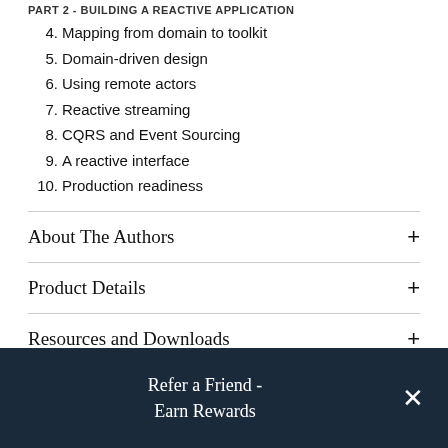PART 2 - BUILDING A REACTIVE APPLICATION
4. Mapping from domain to toolkit
5. Domain-driven design
6. Using remote actors
7. Reactive streaming
8. CQRS and Event Sourcing
9. A reactive interface
10. Production readiness
About The Authors
Product Details
Resources and Downloads
Refer a Friend - Earn Rewards